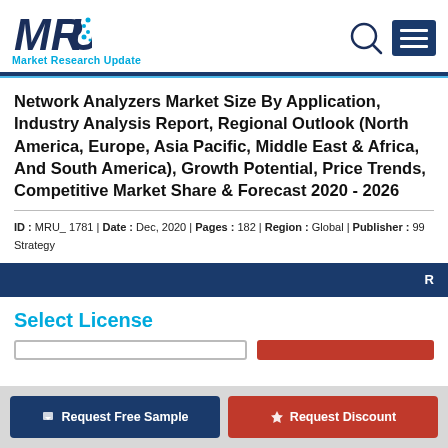MRU Market Research Update
Network Analyzers Market Size By Application, Industry Analysis Report, Regional Outlook (North America, Europe, Asia Pacific, Middle East & Africa, And South America), Growth Potential, Price Trends, Competitive Market Share & Forecast 2020 - 2026
ID : MRU_ 1781 | Date : Dec, 2020 | Pages : 182 | Region : Global | Publisher : 99 Strategy
Select License